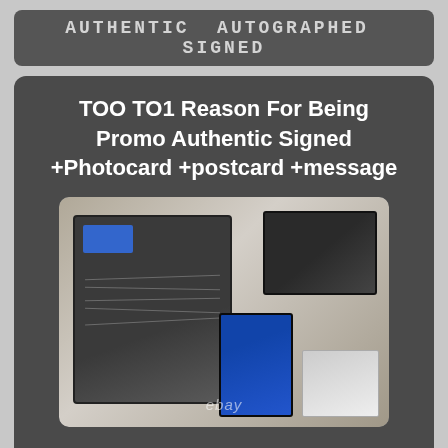AUTHENTIC AUTOGRAPHED SIGNED
TOO TO1 Reason For Being Promo Authentic Signed +Photocard +postcard +message
[Figure (photo): Photo of TOO TO1 Reason For Being signed album with autographs, photocard, postcard, and message card laid out on a table. eBay watermark visible.]